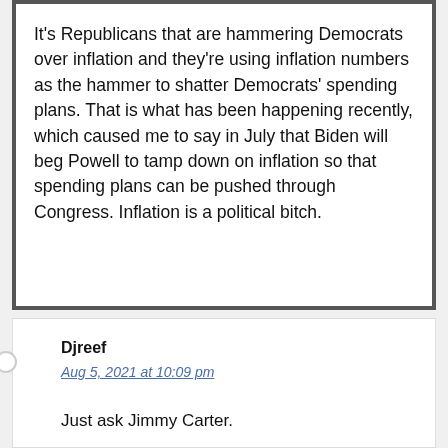It's Republicans that are hammering Democrats over inflation and they're using inflation numbers as the hammer to shatter Democrats' spending plans. That is what has been happening recently, which caused me to say in July that Biden will beg Powell to tamp down on inflation so that spending plans can be pushed through Congress. Inflation is a political bitch.
Djreef
Aug 5, 2021 at 10:09 pm
Just ask Jimmy Carter.